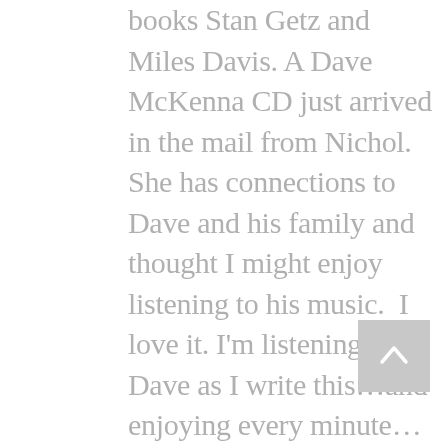books Stan Getz and Miles Davis. A Dave McKenna CD just arrived in the mail from Nichol. She has connections to Dave and his family and thought I might enjoy listening to his music.  I love it. I'm listening to Dave as I write this…and enjoying every minute…Thank you, Nichol!

Thanks to Laura and to everyone at Easterly